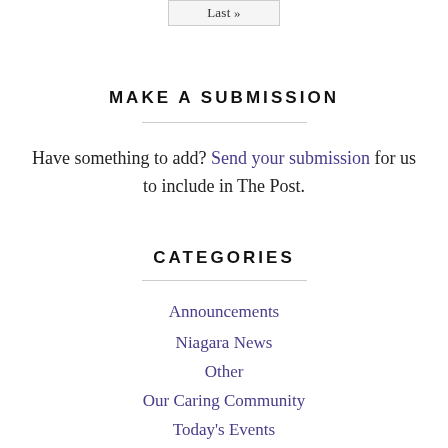Last »
MAKE A SUBMISSION
Have something to add? Send your submission for us to include in The Post.
CATEGORIES
Announcements
Niagara News
Other
Our Caring Community
Today's Events
Upcoming Events